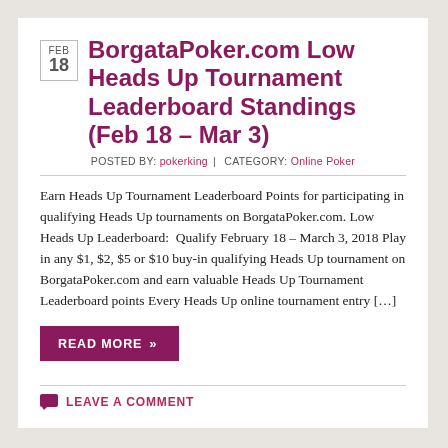BorgataPoker.com Low Heads Up Tournament Leaderboard Standings (Feb 18 – Mar 3)
POSTED BY: pokerking | CATEGORY: Online Poker
Earn Heads Up Tournament Leaderboard Points for participating in qualifying Heads Up tournaments on BorgataPoker.com. Low Heads Up Leaderboard:  Qualify February 18 – March 3, 2018 Play in any $1, $2, $5 or $10 buy-in qualifying Heads Up tournament on BorgataPoker.com and earn valuable Heads Up Tournament Leaderboard points Every Heads Up online tournament entry […]
READ MORE »
LEAVE A COMMENT